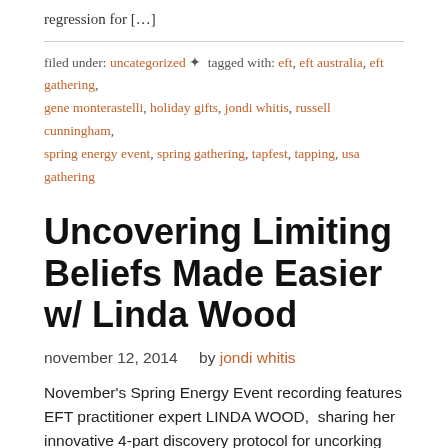regression for […]
filed under: uncategorized • tagged with: eft, eft australia, eft gathering, gene monterastelli, holiday gifts, jondi whitis, russell cunningham, spring energy event, spring gathering, tapfest, tapping, usa gathering
Uncovering Limiting Beliefs Made Easier w/ Linda Wood
november 12, 2014   by jondi whitis
November's Spring Energy Event recording features EFT practitioner expert LINDA WOOD,  sharing her innovative 4-part discovery protocol for uncorking those limiting beliefs faster and easier.
filed under: audio • tagged with: eft gathering, eft guild, eft masters, energists, energy events, energy psychology, gene monterastelli